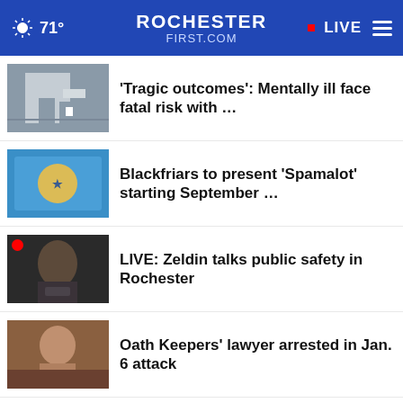71° ROCHESTERFIRST.COM LIVE
'Tragic outcomes': Mentally ill face fatal risk with …
Blackfriars to present 'Spamalot' starting September …
LIVE: Zeldin talks public safety in Rochester
Oath Keepers' lawyer arrested in Jan. 6 attack
Mexico president proposes reforms to National Guard
Listen to the new podcast about adoption.